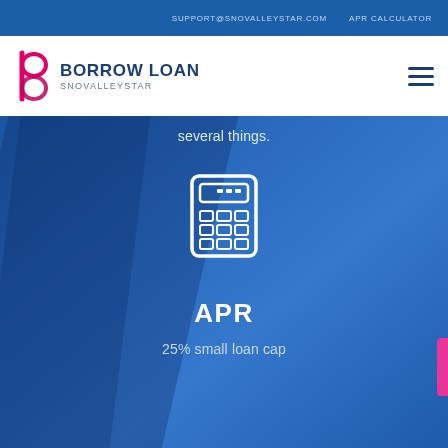SUPPORT@SNOVALLEYSTAR.COM   APR CALCULATOR
[Figure (logo): Borrow Loan Snovalleystar logo with stylized 'b/p' icon in pink/magenta and dark blue text]
several things.
[Figure (illustration): White outline calculator icon on blue background]
APR
25% small loan cap